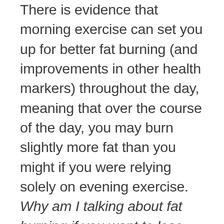There is evidence that morning exercise can set you up for better fat burning (and improvements in other health markers) throughout the day, meaning that over the course of the day, you may burn slightly more fat than you might if you were relying solely on evening exercise. Why am I talking about fat burning if you want to lose weight? Body fat loss is far more likely to be what achieves your weight loss goal, than overall weight loss. Body composition is what determines how lean and toned you look, and from a health perspective